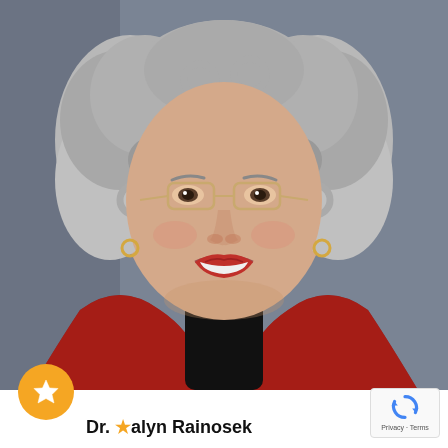[Figure (photo): Professional headshot of Dr. Rosalyn Rainosek, an older woman with curly gray hair, thin-framed glasses, red lipstick, gold hoop earrings, wearing a black turtleneck and red patterned jacket, smiling, gray background.]
Dr. Rosalyn Rainosek